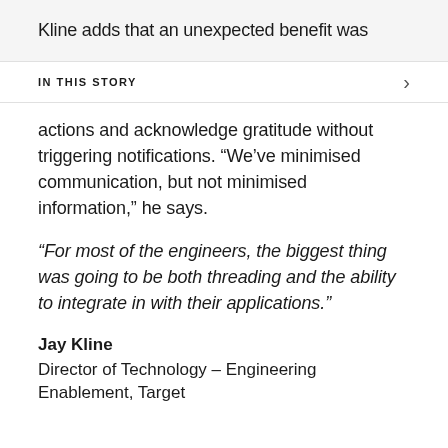Kline adds that an unexpected benefit was
IN THIS STORY
actions and acknowledge gratitude without triggering notifications. “We’ve minimised communication, but not minimised information,” he says.
“For most of the engineers, the biggest thing was going to be both threading and the ability to integrate in with their applications.”
Jay Kline
Director of Technology – Engineering Enablement, Target